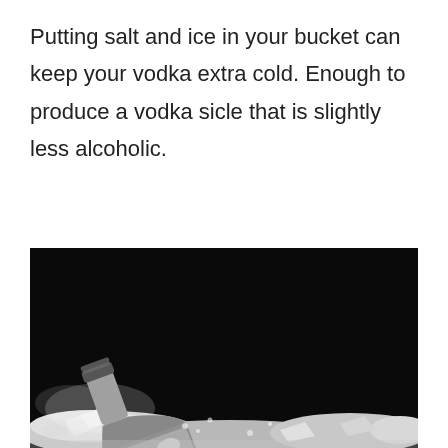Putting salt and ice in your bucket can keep your vodka extra cold. Enough to produce a vodka sicle that is slightly less alcoholic.
[Figure (photo): Black and white photo of a frosted vodka bottle lying diagonally on crushed ice against a dark black background. The bottle is covered in ice crystals and frost, with steam/mist rising from the ice around it.]